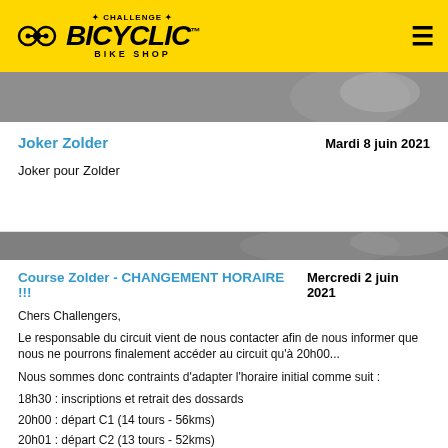CHALLENGE BICYCLIC BIKE SHOP
[Figure (photo): Cycling race photo strip showing riders on road]
Joker Zolder    Mardi 8 juin 2021
Joker pour Zolder
[Figure (photo): Cycling race photo strip]
Course Zolder - CHANGEMENT HORAIRE !!!   Mercredi 2 juin 2021
Chers Challengers,
Le responsable du circuit vient de nous contacter afin de nous informer que nous ne pourrons finalement accéder au circuit qu'à 20h00...
Nous sommes donc contraints d'adapter l'horaire initial comme suit :
18h30 : inscriptions et retrait des dossards
20h00 : départ C1 (14 tours - 56kms)
20h01 : départ C2 (13 tours - 52kms)